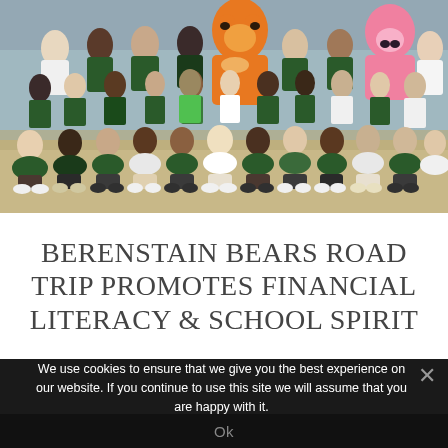[Figure (photo): Group photo of elementary school children and adults, some wearing mascot costumes (bear characters), posing together in rows in a school gymnasium or cafeteria. Children are wearing green school uniforms/t-shirts.]
BERENSTAIN BEARS ROAD TRIP PROMOTES FINANCIAL LITERACY & SCHOOL SPIRIT
We use cookies to ensure that we give you the best experience on our website. If you continue to use this site we will assume that you are happy with it.
Ok